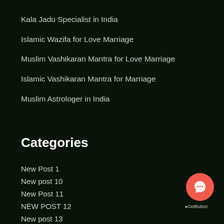Kala Jadu Specialist in India
Islamic Wazifa for Love Marriage
Muslim Vashikaran Mantra for Love Marriage
Islamic Vashikaran Mantra for Marriage
Muslim Astrologer in India
Categories
New Post 1
New post 10
New Post 11
NEW POST 12
New post 13
new post 14
[Figure (illustration): GetButton chat widget button in coral/red circle with speech bubble icon, with 'GetButton' label below]